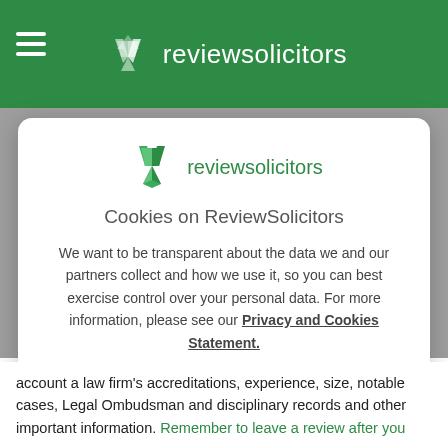reviewsolicitors
[Figure (logo): ReviewSolicitors logo with green checkmark/V shape and text 'reviewsolicitors' in white on green header bar]
Cookies on ReviewSolicitors
We want to be transparent about the data we and our partners collect and how we use it, so you can best exercise control over your personal data. For more information, please see our Privacy and Cookies Statement.
Manage settings
Accept
account a law firm's accreditations, experience, size, notable cases, Legal Ombudsman and disciplinary records and other important information. Remember to leave a review after you